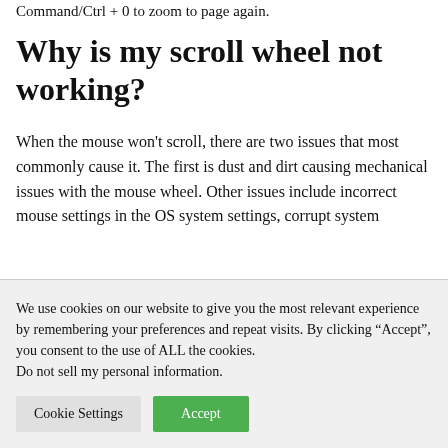Command/Ctrl + 0 to zoom to page again.
Why is my scroll wheel not working?
When the mouse won't scroll, there are two issues that most commonly cause it. The first is dust and dirt causing mechanical issues with the mouse wheel. Other issues include incorrect mouse settings in the OS system settings, corrupt system ...
We use cookies on our website to give you the most relevant experience by remembering your preferences and repeat visits. By clicking “Accept”, you consent to the use of ALL the cookies.
Do not sell my personal information.